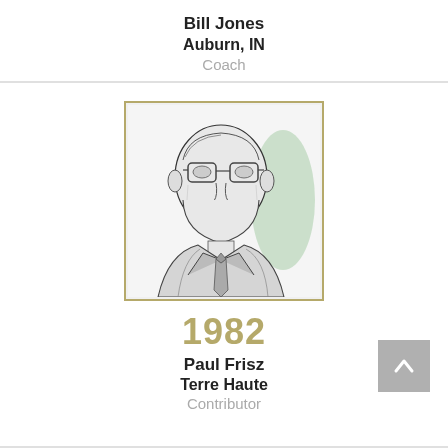Bill Jones
Auburn, IN
Coach
[Figure (illustration): A sketch/illustration portrait of a man wearing glasses and a suit with a tie, with subtle green shading on the right side, framed in a gold/tan border.]
1982
Paul Frisz
Terre Haute
Contributor